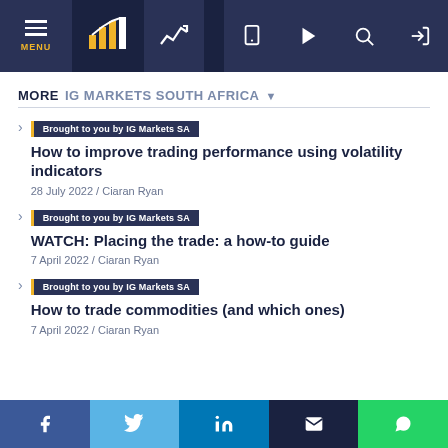Navigation bar with MENU, IG Markets logo, chart icon, and icons for mobile, play, search, login
MORE IG MARKETS SOUTH AFRICA
Brought to you by IG Markets SA | How to improve trading performance using volatility indicators | 28 July 2022 / Ciaran Ryan
Brought to you by IG Markets SA | WATCH: Placing the trade: a how-to guide | 7 April 2022 / Ciaran Ryan
Brought to you by IG Markets SA | How to trade commodities (and which ones) | 7 April 2022 / Ciaran Ryan
Social share buttons: Facebook, Twitter, LinkedIn, Email, WhatsApp